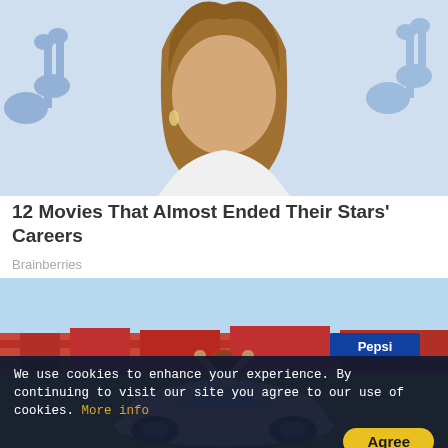[Figure (photo): Close-up photo of a woman with long blonde/brown hair wearing a white top, in front of a blue/gray background with a music note logo]
12 Movies That Almost Ended Their Stars' Careers
Brainberries
[Figure (photo): Photo of a woman standing on top of a white Volkswagen Beetle car with arms raised, in front of a Pepsi-branded building with a crowd of people]
We use cookies to enhance your experience. By continuing to visit our site you agree to our use of cookies. More info